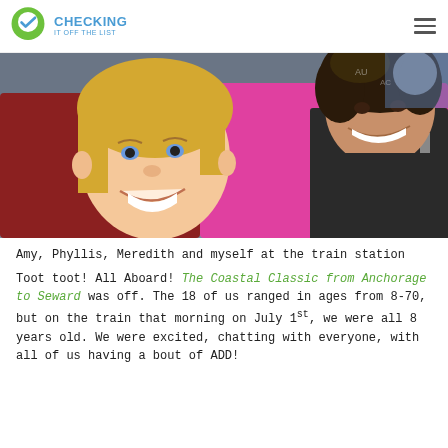CHECKING IT OFF THE LIST
[Figure (photo): Selfie photo of two people (a young blonde girl and an adult woman with curly hair wearing a pink shirt and black vest) at a train station, with other people visible in the background.]
Amy, Phyllis, Meredith and myself at the train station
Toot toot! All Aboard! The Coastal Classic from Anchorage to Seward was off. The 18 of us ranged in ages from 8-70, but on the train that morning on July 1st, we were all 8 years old. We were excited, chatting with everyone, with all of us having a bout of ADD!